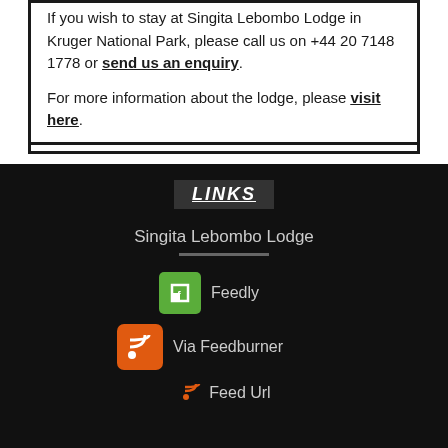If you wish to stay at Singita Lebombo Lodge in Kruger National Park, please call us on +44 20 7148 1778 or send us an enquiry.
For more information about the lodge, please visit here.
LINKS
Singita Lebombo Lodge
Feedly
Via Feedburner
Feed Url